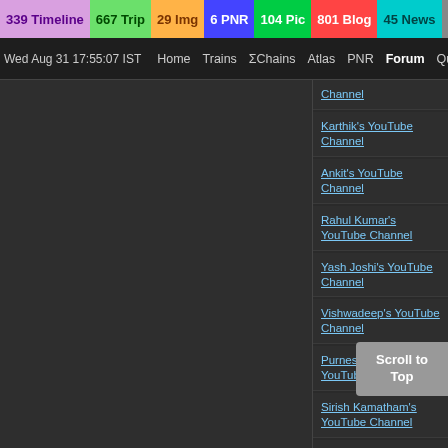339 Timeline  667 Trip  29 Img  6 PNR  104 Pic  801 Blog  45 News  1 Topic
Wed Aug 31 17:55:07 IST  Home  Trains  ΣChains  Atlas  PNR  Forum  Quiz
Channel
Karthik's YouTube Channel
Ankit's YouTube Channel
Rahul Kumar's YouTube Channel
Yash Joshi's YouTube Channel
Vishwadeep's YouTube Channel
Purnesh Upadhyay's YouTube Channel
Sirish Kamatham's YouTube Channel
Soumik Choudhury's YouTube Channel
Kshitij's YouTube Channel
Ram Kumar's YouTube Channel
SK Ballia's YouTube Channel
Shivang Ta... YouTube Ch...
Scroll to Top